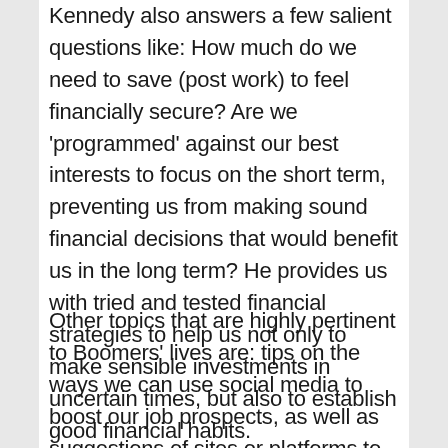Kennedy also answers a few salient questions like: How much do we need to save (post work) to feel financially secure? Are we 'programmed' against our best interests to focus on the short term, preventing us from making sound financial decisions that would benefit us in the long term? He provides us with tried and tested financial strategies to help us not only to make sensible investments in uncertain times, but also to establish good financial habits.
Other topics that are highly pertinent to Boomers' lives are: tips on the ways we can use social media to boost our job prospects, as well as suggestions of sites or platforms to visit if we